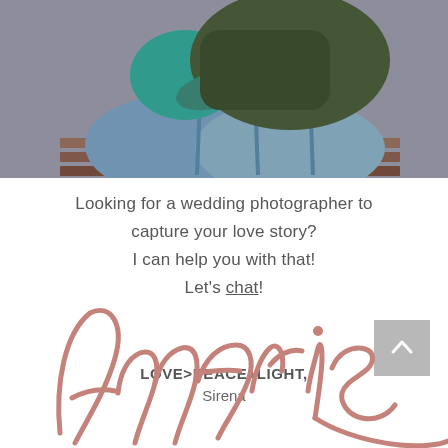[Figure (photo): Cropped photo of a couple sitting close together, wearing jeans. One person has a green sweater and the other has a teal top. They appear to be sitting on a wooden bench.]
Looking for a wedding photographer to capture your love story?
I can help you with that!
Let's chat!
LOVE>PEACE+LIGHT,
Sirena
[Figure (illustration): Large decorative cursive/script signature reading 'Aneris' in dusty rose/mauve color, partially visible at the bottom of the page.]